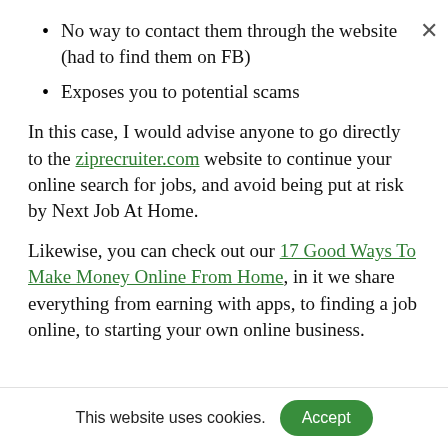No way to contact them through the website (had to find them on FB)
Exposes you to potential scams
In this case, I would advise anyone to go directly to the ziprecruiter.com website to continue your online search for jobs, and avoid being put at risk by Next Job At Home.
Likewise, you can check out our 17 Good Ways To Make Money Online From Home, in it we share everything from earning with apps, to finding a job online, to starting your own online business.
This website uses cookies. Accept